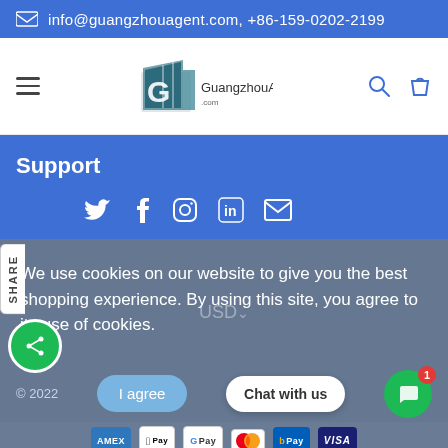info@guangzhouagent.com, +86-159-0202-2199
[Figure (screenshot): Navigation bar with hamburger menu, GuangzhouAgent logo, search and shopping bag icons]
Support
[Figure (infographic): Social media icons: Twitter, Facebook, Instagram, LinkedIn, Email on blue background]
We use cookies on our website to give you the best shopping experience. By using this site, you agree to its use of cookies.
© 2022   I agree   Chat with us   [payment icons: AMEX, Apple Pay, G Pay, Mastercard, BPay, VISA]